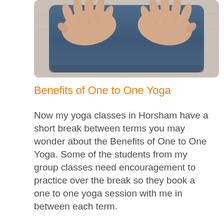[Figure (photo): Hands resting on a dark navy blue yoga mat, viewed from above, on a light wooden floor background.]
Benefits of One to One Yoga
Now my yoga classes in Horsham have a short break between terms you may wonder about the Benefits of One to One Yoga. Some of the students from my group classes need encouragement to practice over the break so they book a one to one yoga session with me in between each term.